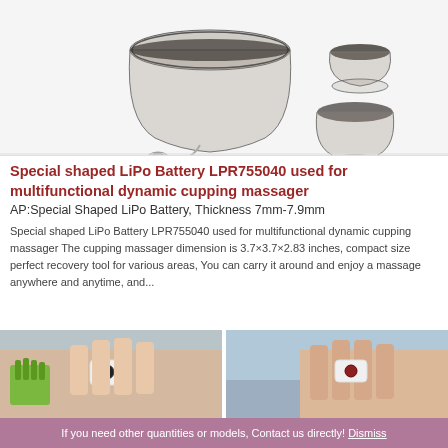[Figure (photo): Product photo of cupping massager device with transparent cups and cable/controller, plus two smaller transparent cups on the right side]
Special shaped LiPo Battery LPR755040 used for multifunctional dynamic cupping massager
AP:Special Shaped LiPo Battery, Thickness 7mm-7.9mm
Special shaped LiPo Battery LPR755040 used for multifunctional dynamic cupping massager The cupping massager dimension is 3.7×3.7×2.83 inches, compact size perfect recovery tool for various areas, You can carry it around and enjoy a massage anywhere and anytime, and...
[Figure (photo): Two product photos side by side showing hands holding a small massage device with a ring, demonstrating usage]
If you need other quantities or models, Contact us directly! Dismiss